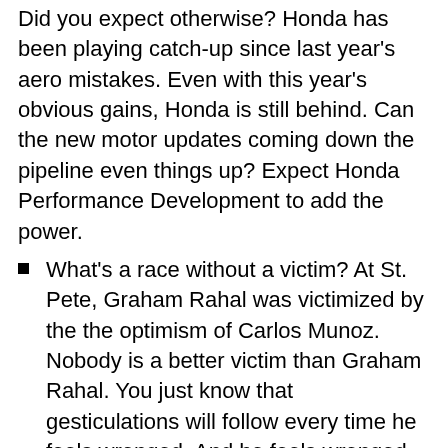Did you expect otherwise?  Honda has been playing catch-up since last year's aero mistakes.  Even with this year's obvious gains, Honda is still behind.  Can the new motor updates coming down the pipeline even things up?  Expect Honda Performance Development to add the power.
What's a race without a victim?  At St. Pete, Graham Rahal was victimized by the the optimism of Carlos Munoz.  Nobody is a better victim than Graham Rahal.  You just know that gesticulations will follow every time he feels wronged.  And he feels wronged often.
What's even more expected than the victimizing of Graham Rahal?  The expected self-immolation of Marco Andretti, of course.  It seems Marco is snake bitten.  And it appears he carries his own snake.  After working his way up the grid, Marco managed to spin